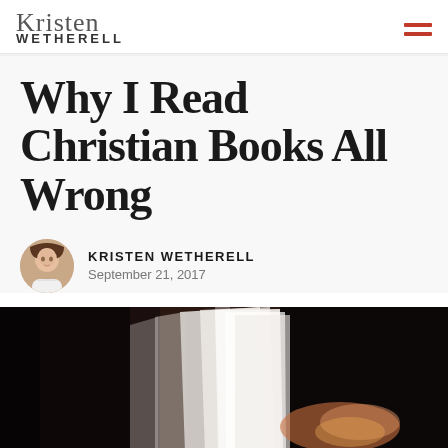Kristen Wetherell
Why I Read Christian Books All Wrong
KRISTEN WETHERELL
September 21, 2017
[Figure (photo): Close-up photo of an open book with pages fanned, dark background with warm bokeh lighting]